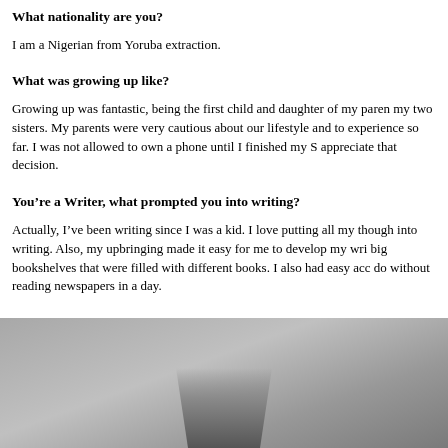What nationality are you?
I am a Nigerian from Yoruba extraction.
What was growing up like?
Growing up was fantastic, being the first child and daughter of my parents and my two sisters. My parents were very cautious about our lifestyle and to experience so far. I was not allowed to own a phone until I finished my S appreciate that decision.
You’re a Writer, what prompted you into writing?
Actually, I’ve been writing since I was a kid. I love putting all my thoughts into writing. Also, my upbringing made it easy for me to develop my writing big bookshelves that were filled with different books. I also had easy access do without reading newspapers in a day.
Do you do some poetry as well?
[Figure (photo): Grayscale photograph, partially visible at bottom of page, showing a dark object against a grey background]